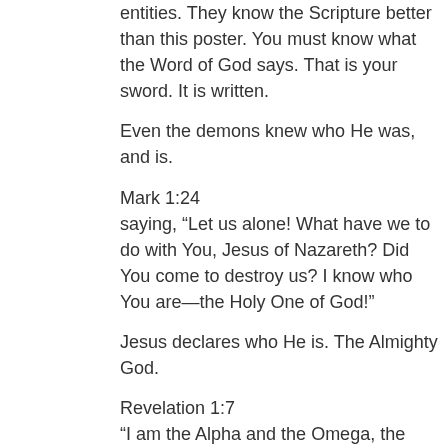entities. They know the Scripture better than this poster. You must know what the Word of God says. That is your sword. It is written.
Even the demons knew who He was, and is.
Mark 1:24
saying, “Let us alone! What have we to do with You, Jesus of Nazareth? Did You come to destroy us? I know who You are—the Holy One of God!”
Jesus declares who He is. The Almighty God.
Revelation 1:7
“I am the Alpha and the Omega, the Beginning and the End,” says the Lord, “who is and who was and who is to come, the Almighty.”
Revelation 1:10-18
10 I was in the Spirit on the Lord’s Day, and